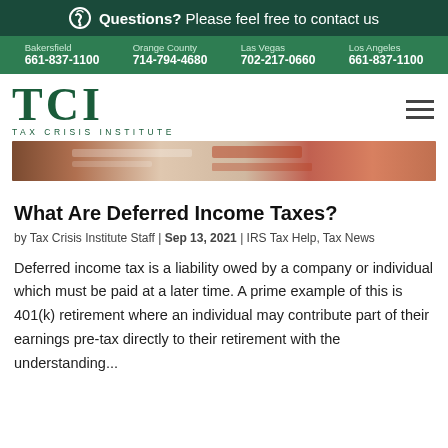Questions? Please feel free to contact us
Bakersfield 661-837-1100 | Orange County 714-794-4680 | Las Vegas 702-217-0660 | Los Angeles 661-837-1100
[Figure (logo): TCI Tax Crisis Institute logo, green serif letters]
[Figure (photo): Hero image of tax documents and forms]
What Are Deferred Income Taxes?
by Tax Crisis Institute Staff | Sep 13, 2021 | IRS Tax Help, Tax News
Deferred income tax is a liability owed by a company or individual which must be paid at a later time. A prime example of this is 401(k) retirement where an individual may contribute part of their earnings pre-tax directly to their retirement with the understanding...